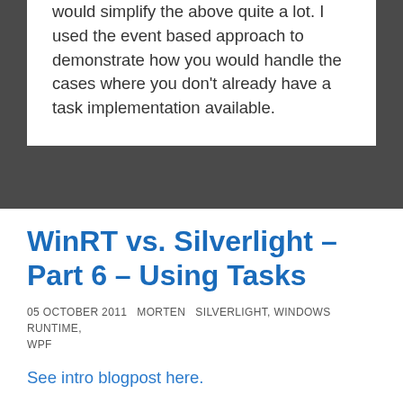would simplify the above quite a lot. I used the event based approach to demonstrate how you would handle the cases where you don't already have a task implementation available.
WinRT vs. Silverlight – Part 6 – Using Tasks
05 OCTOBER 2011   MORTEN   SILVERLIGHT, WINDOWS RUNTIME, WPF
See intro blogpost here.
When you start working with WinRT, you start seeing classes missing or changed. A lot of methods are now only asynchronous, like making a web request, opening, reading and